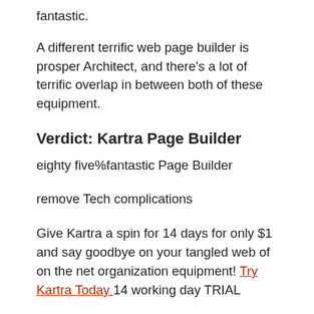fantastic.
A different terrific web page builder is prosper Architect, and there’s a lot of terrific overlap in between both of these equipment.
Verdict: Kartra Page Builder
eighty five%fantastic Page Builder
remove Tech complications
Give Kartra a spin for 14 days for only $1 and say goodbye on your tangled web of on the net organization equipment! Try Kartra Today 14 working day TRIAL